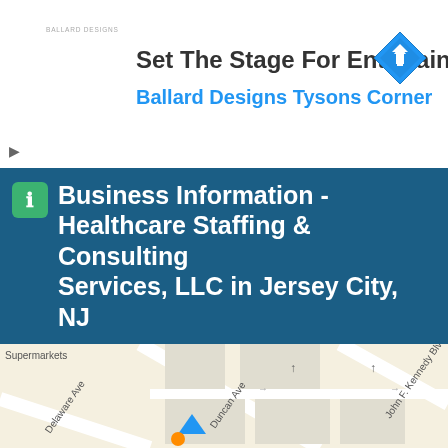[Figure (screenshot): Advertisement banner for Ballard Designs Tysons Corner with navigation icon]
Because the loan received by Healthcare Staffing & Consulting Services, LLC is at least $2M dollars, it is subject to a full review by the SBA to ensure eligibility and compliance with PPP program requirements.
Business Information - Healthcare Staffing & Consulting Services, LLC in Jersey City, NJ
[Figure (map): Street map showing area near Healthcare Staffing & Consulting Services LLC in Jersey City NJ, showing Delaware Ave, Duncan Ave, John F. Kennedy Blvd, and Supermarkets label]